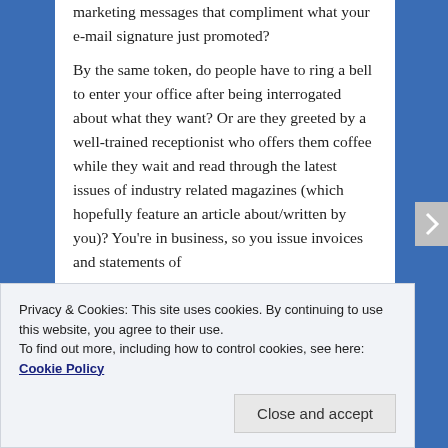marketing messages that compliment what your e-mail signature just promoted?
By the same token, do people have to ring a bell to enter your office after being interrogated about what they want? Or are they greeted by a well-trained receptionist who offers them coffee while they wait and read through the latest issues of industry related magazines (which hopefully feature an article about/written by you)? You're in business, so you issue invoices and statements of
Privacy & Cookies: This site uses cookies. By continuing to use this website, you agree to their use.
To find out more, including how to control cookies, see here: Cookie Policy